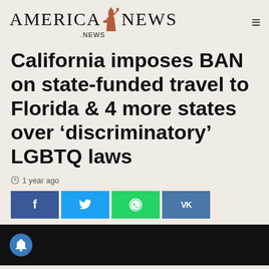AMERICA NEWS .NEWS
California imposes BAN on state-funded travel to Florida & 4 more states over ‘discriminatory’ LGBTQ laws
1 year ago
[Figure (infographic): Row of four social share buttons: Facebook (blue), Twitter (light blue), WhatsApp (green), VK (steel blue), each with respective icons]
[Figure (photo): Dark/black video thumbnail with a blue notification bell circle icon on the left side]